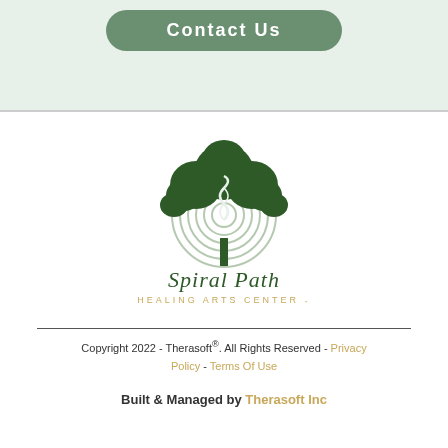Contact Us
[Figure (logo): Spiral Path Healing Arts Center logo — a green tree with spiral labyrinth pattern forming the trunk and branches, with the text 'Spiral Path HEALING ARTS CENTER' below]
Copyright 2022 - Therasoft®. All Rights Reserved - Privacy Policy - Terms Of Use
Built & Managed by Therasoft Inc